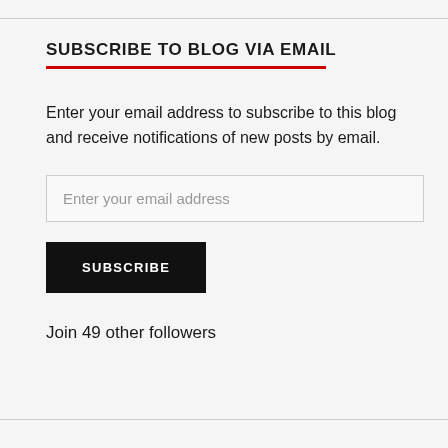SUBSCRIBE TO BLOG VIA EMAIL
Enter your email address to subscribe to this blog and receive notifications of new posts by email.
Join 49 other followers